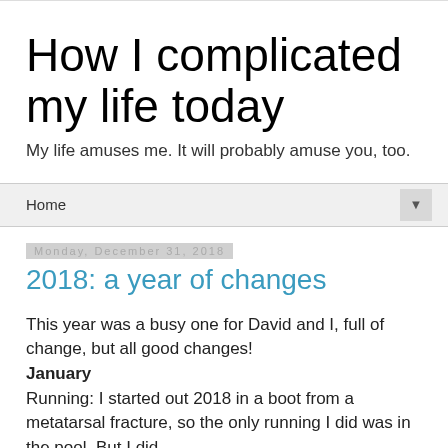How I complicated my life today
My life amuses me. It will probably amuse you, too.
Home
Monday, December 31, 2018
2018: a year of changes
This year was a busy one for David and I, full of change, but all good changes!
January
Running: I started out 2018 in a boot from a metatarsal fracture, so the only running I did was in the pool. But I did